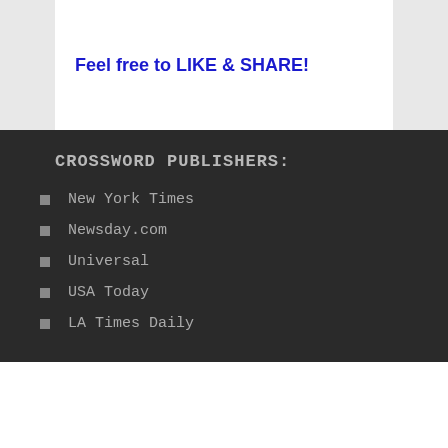Feel free to LIKE & SHARE!
CROSSWORD PUBLISHERS:
New York Times
Newsday.com
Universal
USA Today
LA Times Daily